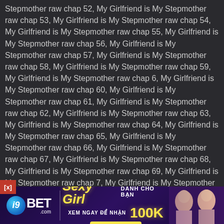Stepmother raw chap 52,  My Girlfriend is My Stepmother raw chap 53,  My Girlfriend is My Stepmother raw chap 54,  My Girlfriend is My Stepmother raw chap 55,  My Girlfriend is My Stepmother raw chap 56,  My Girlfriend is My Stepmother raw chap 57,  My Girlfriend is My Stepmother raw chap 58,  My Girlfriend is My Stepmother raw chap 59,  My Girlfriend is My Stepmother raw chap 6,  My Girlfriend is My Stepmother raw chap 60,  My Girlfriend is My Stepmother raw chap 61,  My Girlfriend is My Stepmother raw chap 62,  My Girlfriend is My Stepmother raw chap 63,  My Girlfriend is My Stepmother raw chap 64,  My Girlfriend is My Stepmother raw chap 65,  My Girlfriend is My Stepmother raw chap 66,  My Girlfriend is My Stepmother raw chap 67,  My Girlfriend is My Stepmother raw chap 68,  My Girlfriend is My Stepmother raw chap 69,  My Girlfriend is My Stepmother raw chap 7,  My Girlfriend is My Stepmother raw chap 70,  My Girlfriend is My Stepmother raw chap 71,  My Girlfriend is My Stepmother raw chap 72,  My Girlfriend is My Stepmother raw chap 73,  My Girlfriend is My Stepmother raw chap 74,  My Girlfriend is My Stepmother raw chap 75,  My Girlfriend is My Stepmother raw chap 76,  My Girlfriend is My Stepmother raw chap 77,  My Girlfriend is My Stepmother raw chap 78,  My Girlfriend is My Stepmother raw chap 79,  My Girlfriend is My Stepmother raw chap 8,  My
[Figure (infographic): i9BET.com advertisement banner with yellow 'Sexy Girl' text, Vietnamese text 'DANH CHO BAN', '100K' reward, 'XEM NGAY' button, and images of women on the right]